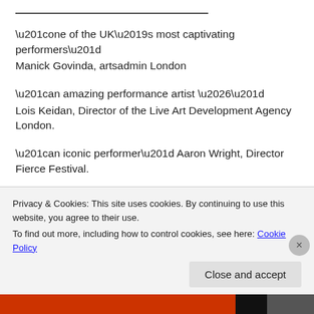________________________________________________
“one of the UK’s most captivating performers”
Manick Govinda, artsadmin London
“an amazing performance artist …”
Lois Keidan, Director of the Live Art Development Agency London.
“an iconic performer” Aaron Wright, Director Fierce Festival.
Shaun Caton is one of the UK’s leading, performance artists. In a career spanning 35 years he has performed at
Privacy & Cookies: This site uses cookies. By continuing to use this website, you agree to their use.
To find out more, including how to control cookies, see here: Cookie Policy
Close and accept